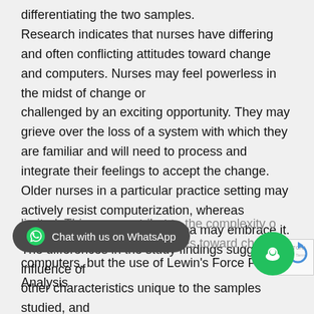differentiating the two samples. Research indicates that nurses have differing and often conflicting attitudes toward change and computers. Nurses may feel powerless in the midst of change or challenged by an exciting opportunity. They may grieve over the loss of a system with which they are familiar and will need to process and integrate their feelings to accept the change. Older nurses in a particular practice setting may actively resist computerization, whereas younger nurses in another area may embrace it. The differences in the study findings suggest the influence of other characteristics unique to the samples studied, and the ability to make generalizations from these studies is limited. This may contribute to the complexity of understanding nurses' attitudes toward change and computers, but the use of Lewin's Force Field Analysis